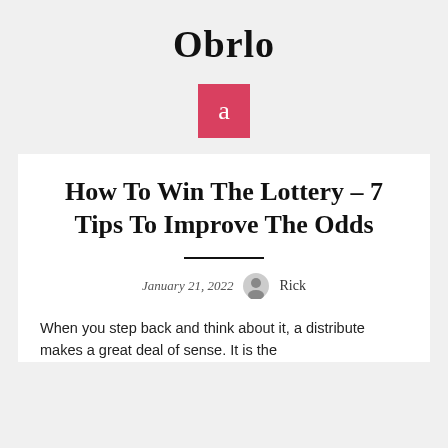Obrlo
[Figure (logo): Red square with lowercase letter 'a' in white]
How To Win The Lottery – 7 Tips To Improve The Odds
January 21, 2022   Rick
When you step back and think about it, a distribute makes a great deal of sense. It is the